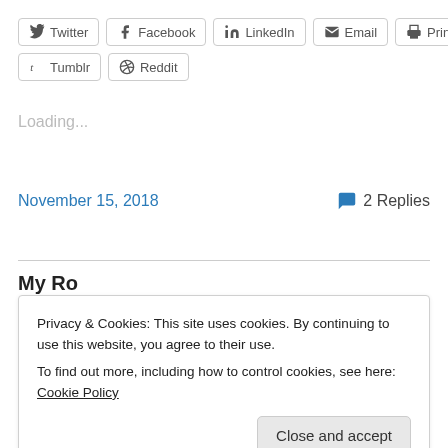Twitter Facebook LinkedIn Email Print Tumblr Reddit (share buttons)
Loading...
November 15, 2018
2 Replies
Privacy & Cookies: This site uses cookies. By continuing to use this website, you agree to their use. To find out more, including how to control cookies, see here: Cookie Policy
Close and accept